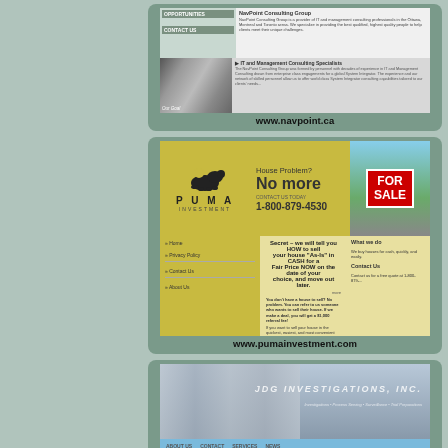[Figure (screenshot): Screenshot of navpoint.ca website showing IT and Management Consulting Specialists]
www.navpoint.ca
[Figure (screenshot): Screenshot of pumainvestment.com website for Puma Investment showing house buying service with FOR SALE imagery. Phone: 1-800-879-4530]
www.pumainvestment.com
[Figure (screenshot): Screenshot of jdginvestigations.com website showing JDG Investigations Inc. company overview with columns building header]
www.jdginvestigations.com